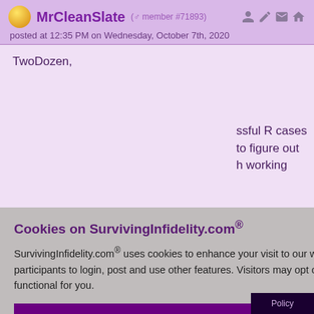MrCleanSlate (male member #71893) posted at 12:35 PM on Wednesday, October 7th, 2020
TwoDozen,
...ssful R cases ...to figure out ...h working
...through ...or not, I ...issue is if the
...ven't found ...ake a
Cookies on SurvivingInfidelity.com®
SurvivingInfidelity.com® uses cookies to enhance your visit to our website. This is a requirement for participants to login, post and use other features. Visitors may opt out, but the website will be less functional for you.
accept
decline
about cookies
Policy